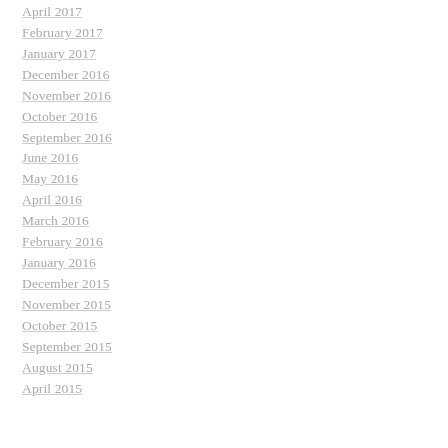April 2017
February 2017
January 2017
December 2016
November 2016
October 2016
September 2016
June 2016
May 2016
April 2016
March 2016
February 2016
January 2016
December 2015
November 2015
October 2015
September 2015
August 2015
April 2015